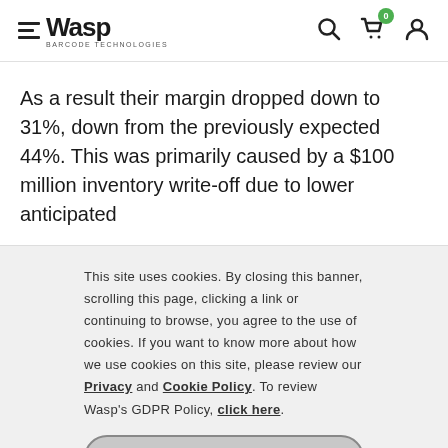Wasp Barcode Technologies — navigation header with search, cart (0), and account icons
As a result their margin dropped down to 31%, down from the previously expected 44%. This was primarily caused by a $100 million inventory write-off due to lower anticipated
This site uses cookies. By closing this banner, scrolling this page, clicking a link or continuing to browse, you agree to the use of cookies. If you want to know more about how we use cookies on this site, please review our Privacy and Cookie Policy. To review Wasp's GDPR Policy, click here.